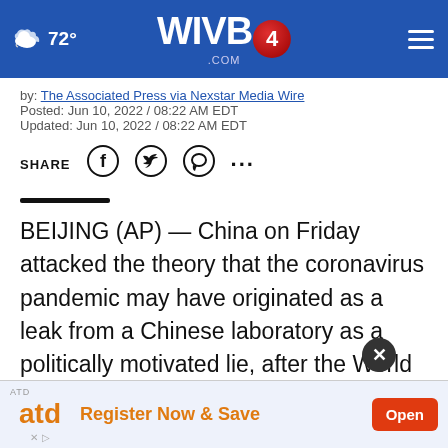72° WIVB4.COM
by: The Associated Press via Nexstar Media Wire
Posted: Jun 10, 2022 / 08:22 AM EDT
Updated: Jun 10, 2022 / 08:22 AM EDT
SHARE
BEIJING (AP) — China on Friday attacked the theory that the coronavirus pandemic may have originated as a leak from a Chinese laboratory as a politically motivated lie, after the World Health Organization recommended in its strongest terms yet that a deeper probe is needed into whether a lab accident may b...
[Figure (infographic): ATD advertisement banner: 'Register Now & Save' with Open button]